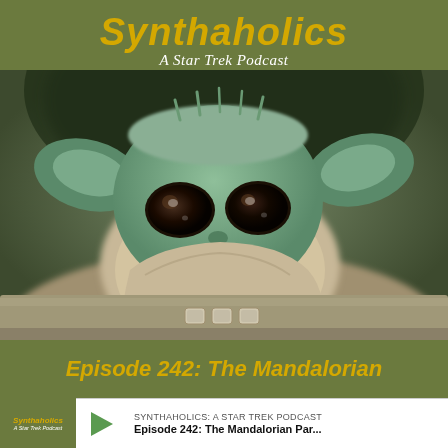Synthaholics
A Star Trek Podcast
[Figure (photo): Close-up photo of Baby Yoda (The Child) from The Mandalorian, peeking over the edge of a bassinet/pod with large dark eyes and green skin, shot in warm bokeh background]
Episode 242: The Mandalorian
SYNTHAHOLICS: A STAR TREK PODCAST
Episode 242: The Mandalorian Par...